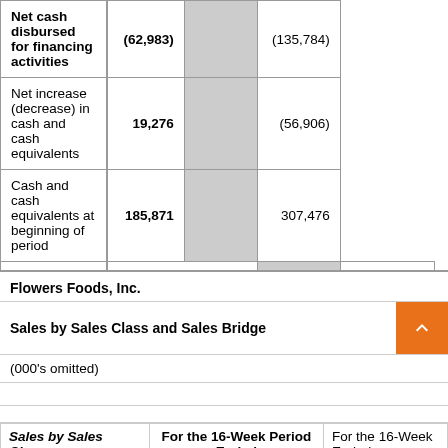|  | Col1 |  | Col2 |  |
| --- | --- | --- | --- | --- |
| Net cash disbursed for financing activities |  | (62,983) |  | (135,784) |
| Net increase (decrease) in cash and cash equivalents |  | 19,276 |  | (56,906) |
| Cash and cash equivalents at beginning of period |  | 185,871 |  | 307,476 |
| Cash and cash equivalents at end of period | $ | 205,147 | $ | 250,570 |
Flowers Foods, Inc.
Sales by Sales Class and Sales Bridge
(000's omitted)
| Sales by Sales Class | For the 16-Week Period Ended | For the 16-Week Ended |
| --- | --- | --- |